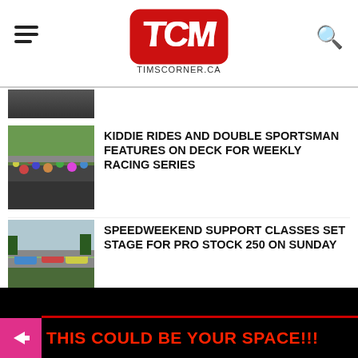TCM - TIMSCORNER.CA
[Figure (screenshot): Partial thumbnail of article at top cut off]
KIDDIE RIDES and DOUBLE SPORTSMAN FEATURES ON DECK FOR WEEKLY RACING SERIES
SPEEDWEEKEND SUPPORT CLASSES SET STAGE FOR PRO STOCK 250 ON SUNDAY
Competitor Package – $1500 To Win Mini Stock Showcase at Bud's Speedway (September 3rd 2022)
THIS COULD BE YOUR SPACE!!!